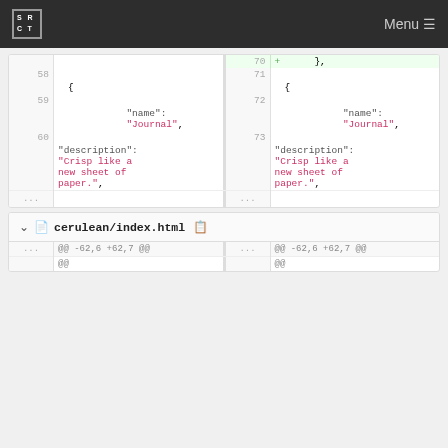SRCT Menu
[Figure (screenshot): Code diff view showing two columns. Left side has line numbers 58-60 with code containing '{', '"name":', '"Journal",' and '"description":', '"Crisp like a new sheet of paper."'. Right side has line numbers 70-73 with line 70 highlighted green showing '+', same code content mirrored. Ellipsis rows at bottom.]
cerulean/index.html
... @@ -62,6 +62,7 ...  @@ -62,6 +62,7  @@ @@